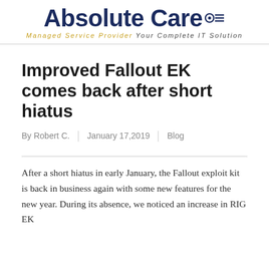Absolute Care Managed Service Provider Your Complete IT Solution
Improved Fallout EK comes back after short hiatus
By Robert C. | January 17, 2019 | Blog
After a short hiatus in early January, the Fallout exploit kit is back in business again with some new features for the new year. During its absence, we noticed an increase in RIG EK